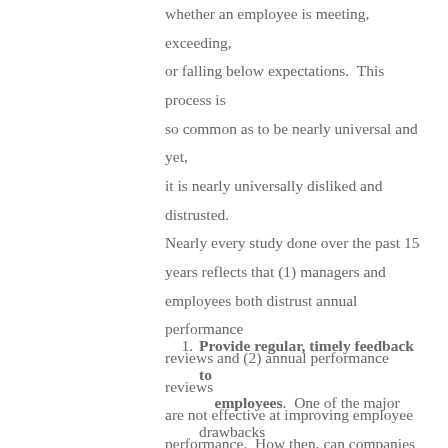whether an employee is meeting, exceeding, or falling below expectations.  This process is so common as to be nearly universal and yet, it is nearly universally disliked and distrusted.  Nearly every study done over the past 15 years reflects that (1) managers and employees both distrust annual performance reviews and (2) annual performance reviews are not effective at improving employee performance.  How then, can companies improve their performance feedback process?
Provide regular, timely feedback to employees.  One of the major drawbacks of the annual performance review is that it's only done annually.  If an employee is